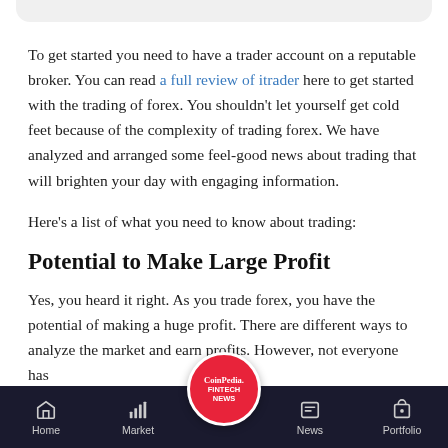To get started you need to have a trader account on a reputable broker. You can read a full review of itrader here to get started with the trading of forex. You shouldn't let yourself get cold feet because of the complexity of trading forex. We have analyzed and arranged some feel-good news about trading that will brighten your day with engaging information.
Here's a list of what you need to know about trading:
Potential to Make Large Profit
Yes, you heard it right. As you trade forex, you have the potential of making a huge profit. There are different ways to analyze the market and earn profits. However, not everyone has
Home | Market | CoinPedia FINTECH NEWS | News | Portfolio